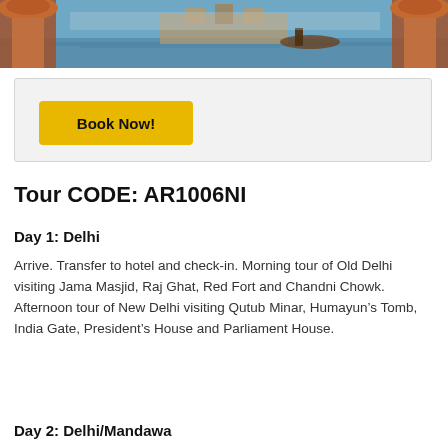[Figure (photo): Scenic photo of Indian landmark with decorative pillars in foreground and water/boat scene in background]
Book Now!
Tour CODE: AR1006NI
Day 1: Delhi
Arrive. Transfer to hotel and check-in. Morning tour of Old Delhi visiting Jama Masjid, Raj Ghat, Red Fort and Chandni Chowk. Afternoon tour of New Delhi visiting Qutub Minar, Humayun’s Tomb, India Gate, President’s House and Parliament House.
Day 2: Delhi/Mandawa